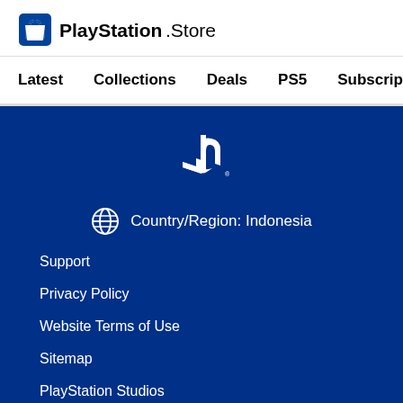[Figure (logo): PlayStation Store logo with shopping bag icon and PlayStation.Store text]
Latest   Collections   Deals   PS5   Subscriptions >
[Figure (logo): PlayStation logo symbol (white) on blue background]
Country/Region: Indonesia
Support
Privacy Policy
Website Terms of Use
Sitemap
PlayStation Studios